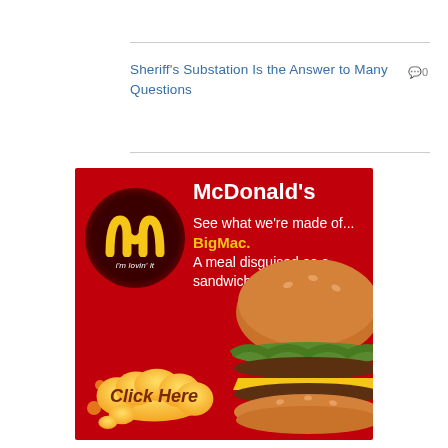Sheriff's Substation Is the Answer to Many Questions
0
[Figure (illustration): McDonald's advertisement showing the McDonald's logo (golden arches with 'i'm lovin' it') on a dark red background, with text 'McDonald's See what we're made of... BigMac. A meal disguised as a sandwich.' and a 'Click Here' cloud-shaped button in orange/yellow, with a Big Mac burger image on the right side.]